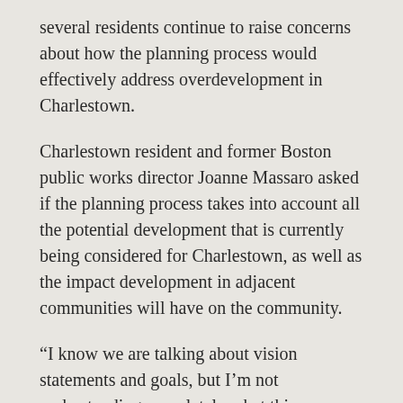several residents continue to raise concerns about how the planning process would effectively address overdevelopment in Charlestown.
Charlestown resident and former Boston public works director Joanne Massaro asked if the planning process takes into account all the potential development that is currently being considered for Charlestown, as well as the impact development in adjacent communities will have on the community.
“I know we are talking about vision statements and goals, but I’m not understanding completely what this document will be,” said Massaro.
Charlestown attorney Rosemary Macero wanted to know about the number of residential units the BPDA used to calculate a 2019 regional traffic study, as well